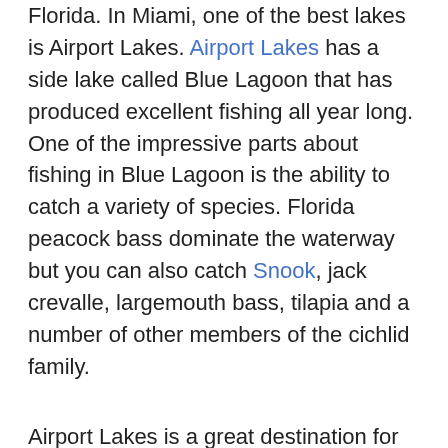Florida. In Miami, one of the best lakes is Airport Lakes. Airport Lakes has a side lake called Blue Lagoon that has produced excellent fishing all year long. One of the impressive parts about fishing in Blue Lagoon is the ability to catch a variety of species. Florida peacock bass dominate the waterway but you can also catch Snook, jack crevalle, largemouth bass, tilapia and a number of other members of the cichlid family.
Airport Lakes is a great destination for anglers that want the ultimate experience. As well, it is great for family, loved ones, and inexperienced anglers that want to set the hook. Every chance to do so can lead to the fish you dream about. Julie and Don can attest to that fact.